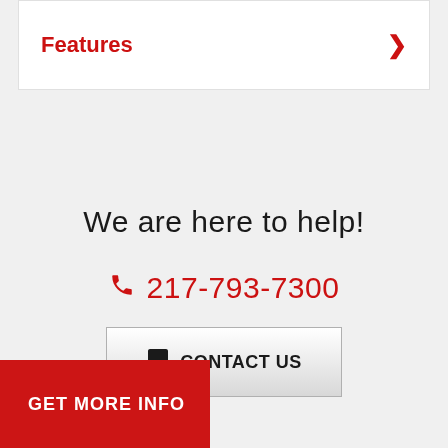Features
We are here to help!
217-793-7300
CONTACT US
GET MORE INFO